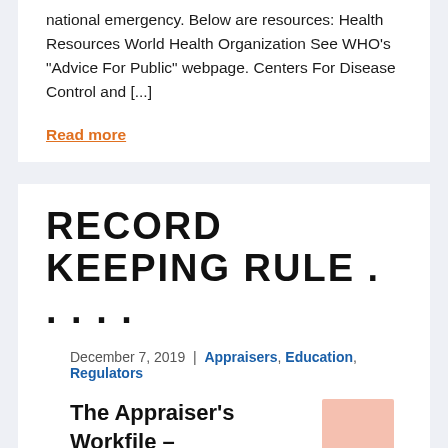national emergency. Below are resources: Health Resources World Health Organization See WHO’s “Advice For Public” webpage. Centers For Disease Control and [...]
Read more
RECORD KEEPING RULE . . . . .
December 7, 2019  |  Appraisers, Education, Regulators
The Appraiser’s Workfile – Part II
In Part 1, I explored the question “What should be in